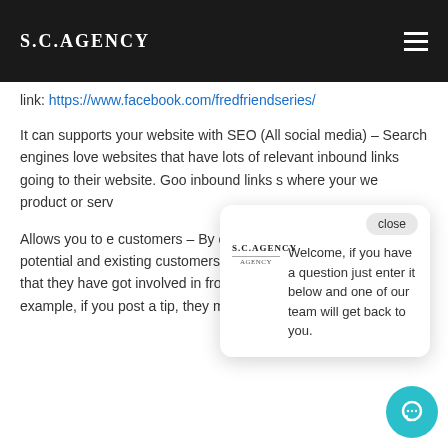S.C.AGENCY
link: https://www.facebook.com/fredfriendseries/
It can supports your website with SEO (All social media) – Search engines love websites that have lots of relevant inbound links going to their website. Goo inbound links s where your we product or serv
Allows you to e customers – By opportunity to engage with your potential and existing customers, this could be via conversations that they have got involved in from content that has been po For example, if you post a tip, they may send a
[Figure (screenshot): Chat popup with S.C.Agency logo and message: Welcome, if you have a question just enter it below and one of our team will get back to you. With a close button and a teal chat bubble icon.]